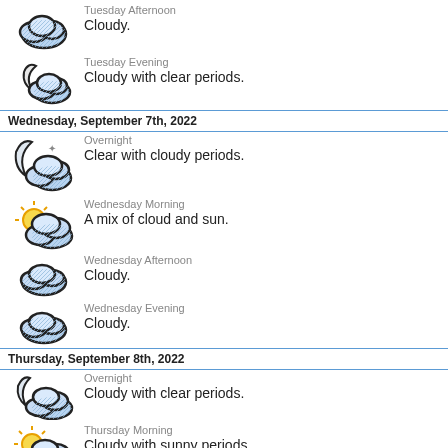Tuesday Afternoon – Cloudy.
Tuesday Evening – Cloudy with clear periods.
Wednesday, September 7th, 2022
Overnight – Clear with cloudy periods.
Wednesday Morning – A mix of cloud and sun.
Wednesday Afternoon – Cloudy.
Wednesday Evening – Cloudy.
Thursday, September 8th, 2022
Overnight – Cloudy with clear periods.
Thursday Morning – Cloudy with sunny periods.
Thursday Afternoon – (continues)